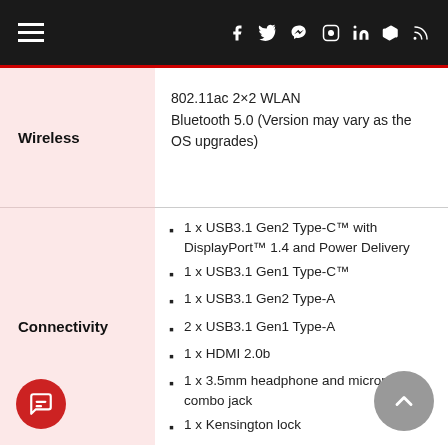Navigation header with hamburger menu and social icons
|  |  |
| --- | --- |
| Wireless | 802.11ac 2×2 WLAN
Bluetooth 5.0 (Version may vary as the OS upgrades) |
| Connectivity | 1 x USB3.1 Gen2 Type-C™ with DisplayPort™ 1.4 and Power Delivery
1 x USB3.1 Gen1 Type-C™
1 x USB3.1 Gen2 Type-A
2 x USB3.1 Gen1 Type-A
1 x HDMI 2.0b
1 x 3.5mm headphone and microphone combo jack
1 x Kensington lock |